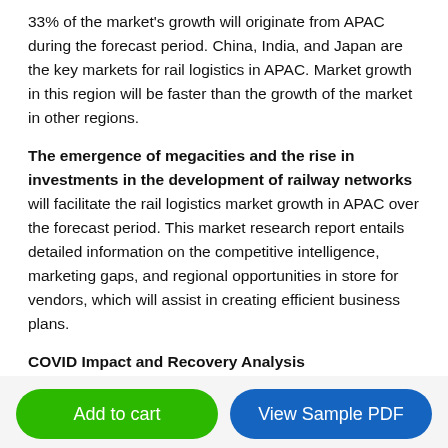33% of the market's growth will originate from APAC during the forecast period. China, India, and Japan are the key markets for rail logistics in APAC. Market growth in this region will be faster than the growth of the market in other regions.
The emergence of megacities and the rise in investments in the development of railway networks will facilitate the rail logistics market growth in APAC over the forecast period. This market research report entails detailed information on the competitive intelligence, marketing gaps, and regional opportunities in store for vendors, which will assist in creating efficient business plans.
COVID Impact and Recovery Analysis
The international supply chain...
Add to cart
View Sample PDF